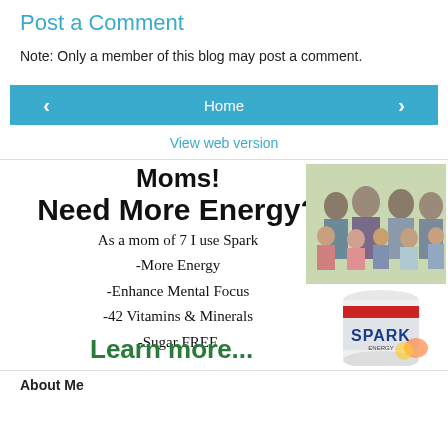Post a Comment
Note: Only a member of this blog may post a comment.
[Figure (screenshot): Navigation buttons: left arrow, Home, right arrow]
View web version
[Figure (infographic): Ad banner: MOMS! Need More Energy? As a mom of 7 I use Spark -More Energy -Enhance Mental Focus -42 Vitamins & Minerals -Sugar FREE. Learn more... with family photo and Spark product image.]
About Me